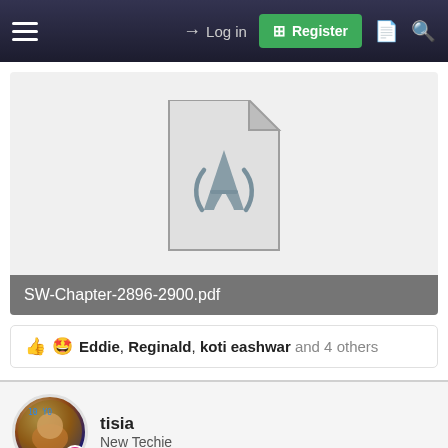Log in | Register
[Figure (other): PDF file icon for SW-Chapter-2896-2900.pdf]
SW-Chapter-2896-2900.pdf
Eddie, Reginald, koti eashwar and 4 others
tisia
New Techie
Jul 4, 2021
#2
More chapters please